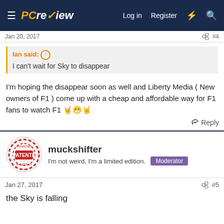PC review | Log in | Register
Jan 20, 2017  #4
Ian said: ↑
I can't wait for Sky to disappear
I'm hoping the disappear soon as well and Liberty Media ( New owners of F1 ) come up with a cheap and affordable way for F1 fans to watch F1 🤙😁🤙
Reply
muckshifter
I'm not weird, I'm a limited edition. Moderator
Jan 27, 2017  #5
the Sky is falling